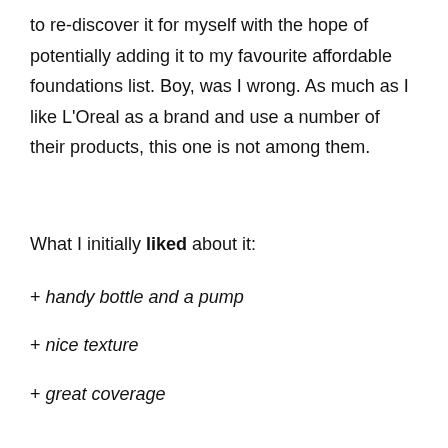to re-discover it for myself with the hope of potentially adding it to my favourite affordable foundations list. Boy, was I wrong. As much as I like L'Oreal as a brand and use a number of their products, this one is not among them.
What I initially liked about it:
+ handy bottle and a pump
+ nice texture
+ great coverage
What disappointed me: